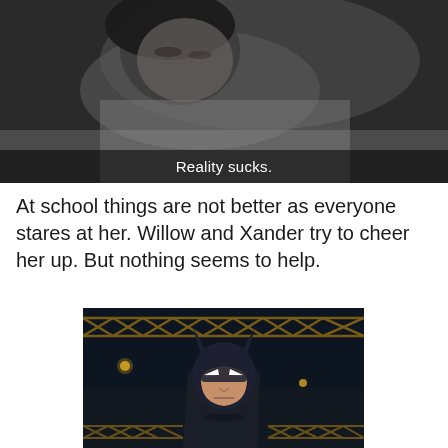[Figure (photo): Black and white photo of a person lying down with eyes closed, subtitle text 'Reality sucks.' overlaid at the bottom center]
At school things are not better as everyone stares at her. Willow and Xander try to cheer her up. But nothing seems to help.
[Figure (screenshot): Animated screenshot of Batman (from Batman: The Animated Series) with a dark, serious expression, standing against a nighttime backdrop with metal scaffolding/bridge structure]